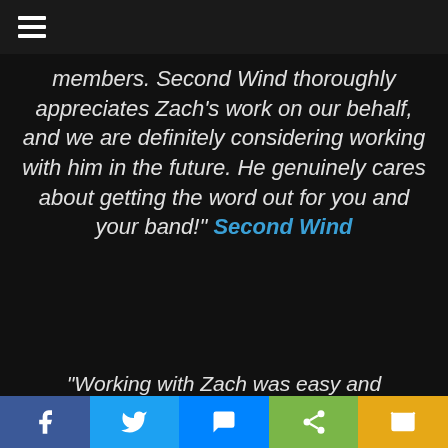members. Second Wind thoroughly appreciates Zach's work on our behalf, and we are definitely considering working with him in the future. He genuinely cares about getting the word out for you and your band!" Second Wind
"Working with Zach was easy and everything worked better than great! He kept us aware all the time with everything what was going on. We